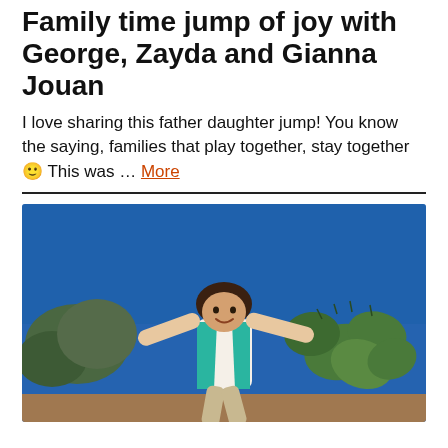Family time jump of joy with George, Zayda and Gianna Jouan
I love sharing this father daughter jump! You know the saying, families that play together, stay together 🙂 This was … More
[Figure (photo): A young girl wearing a white shirt and teal/green vest jumping joyfully outdoors against a bright blue sky, with green cacti and desert shrubs visible in the background.]